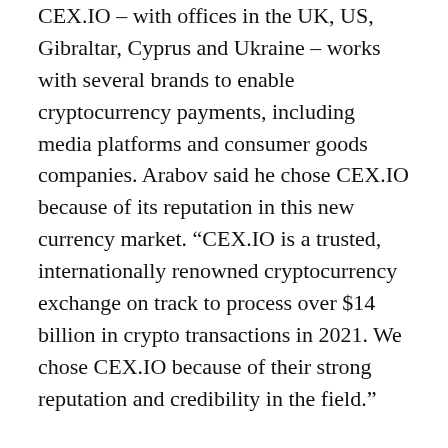CEX.IO – with offices in the UK, US, Gibraltar, Cyprus and Ukraine – works with several brands to enable cryptocurrency payments, including media platforms and consumer goods companies. Arabov said he chose CEX.IO because of its reputation in this new currency market. “CEX.IO is a trusted, internationally renowned cryptocurrency exchange on track to process over $14 billion in crypto transactions in 2021. We chose CEX.IO because of their strong reputation and credibility in the field.”
According to Konstantin Anissimov, Executive Director of CEX.IO, Jacob & Co. is the perfect brand to enter this new world of finance.
“Jacob & Co. is undoubtedly a premium brand